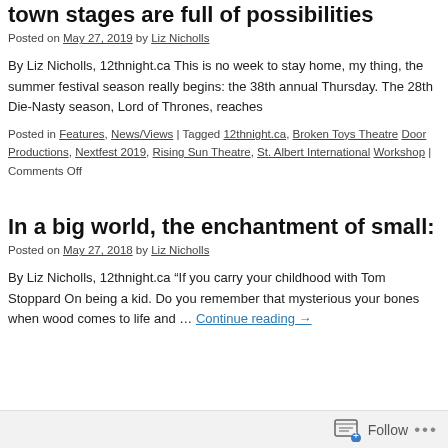town stages are full of possibilities
Posted on May 27, 2019 by Liz Nicholls
By Liz Nicholls, 12thnight.ca This is no week to stay home, my thing, the summer festival season really begins: the 38th annual Thursday. The 28th Die-Nasty season, Lord of Thrones, reaches
Posted in Features, News/Views | Tagged 12thnight.ca, Broken Toys Theatre Door Productions, Nextfest 2019, Rising Sun Theatre, St. Albert International Workshop | Comments Off
In a big world, the enchantment of small:
Posted on May 27, 2018 by Liz Nicholls
By Liz Nicholls, 12thnight.ca “If you carry your childhood with Tom Stoppard On being a kid. Do you remember that mysterious your bones when wood comes to life and … Continue reading →
Follow ...